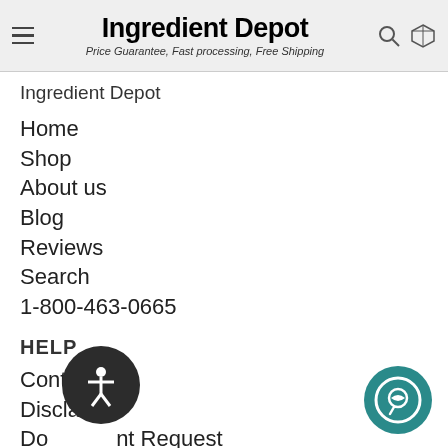Ingredient Depot — Price Guarantee, Fast processing, Free Shipping
Ingredient Depot
Home
Shop
About us
Blog
Reviews
Search
1-800-463-0665
HELP
Contact us
Disclaimer
Document Request
Price Guarantee
Talk to a Specialist
Confirm Account